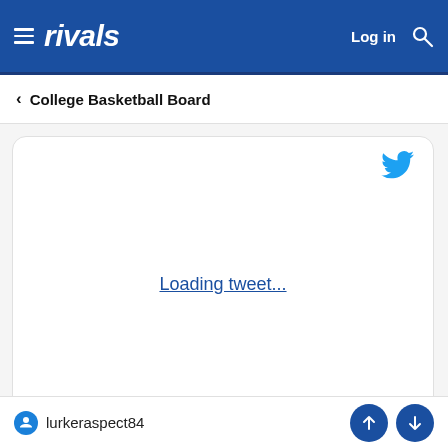rivals — Log in [search]
< College Basketball Board
[Figure (screenshot): Tweet embed card showing 'Loading tweet...' with Twitter bird icon in upper right corner]
lurkeraspect84